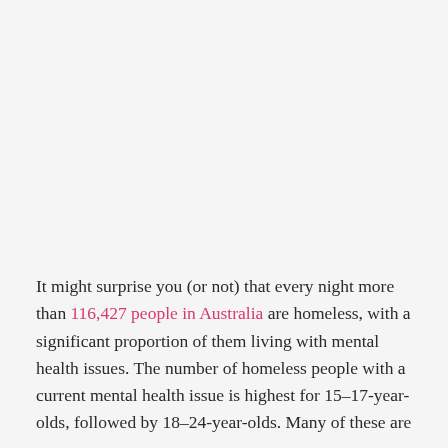It might surprise you (or not) that every night more than 116,427 people in Australia are homeless, with a significant proportion of them living with mental health issues. The number of homeless people with a current mental health issue is highest for 15–17-year-olds, followed by 18–24-year-olds. Many of these are